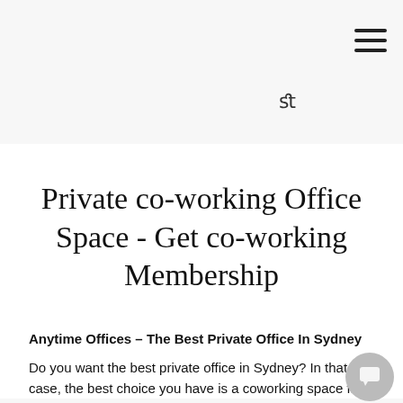Private co-working Office Space - Get co-working Membership
Anytime Offices – The Best Private Office In Sydney
Do you want the best private office in Sydney? In that case, the best choice you have is a coworking space from